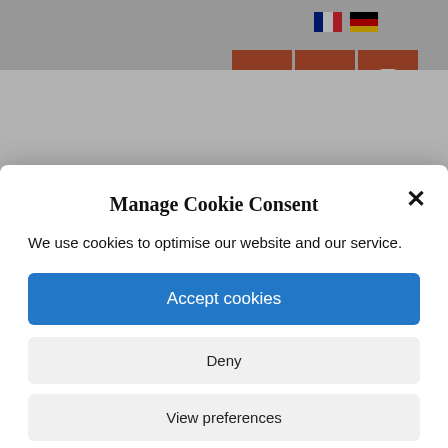[Figure (screenshot): Website background showing language flags (French, German) and social media buttons (Facebook, Twitter, Instagram) in orange-red color, with partial red text 'polluter' and a 'Favoris☆0' button at the bottom]
Manage Cookie Consent
We use cookies to optimise our website and our service.
Accept cookies
Deny
View preferences
Cookie Policy   Mentions légales